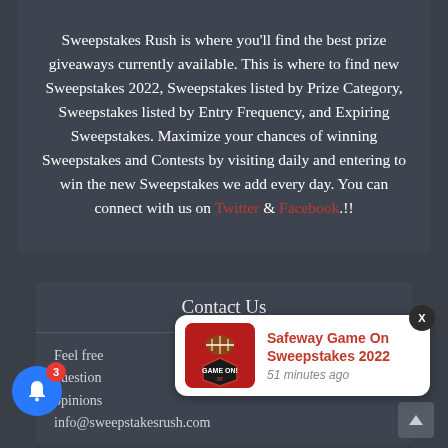Sweepstakes Rush is where you'll find the best prize giveaways currently available. This is where to find new Sweepstakes 2022, Sweepstakes listed by Prize Category, Sweepstakes listed by Entry Frequency, and Expiring Sweepstakes. Maximize your chances of winning Sweepstakes and Contests by visiting daily and entering to win the new Sweepstakes we add every day. You can connect with us on Twitter & Facebook.!!
Contact Us
Feel free questions opinions info@sweepstakesrush.com
[Figure (screenshot): Push notification popup showing 'Safeway Game On Sweepstakes 2022' with a red Game On logo, posted 51 minutes ago]